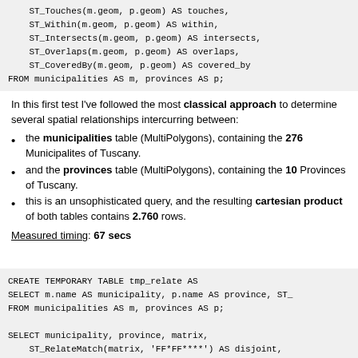ST_Touches(m.geom, p.geom) AS touches,
    ST_Within(m.geom, p.geom) AS within,
    ST_Intersects(m.geom, p.geom) AS intersects,
    ST_Overlaps(m.geom, p.geom) AS overlaps,
    ST_CoveredBy(m.geom, p.geom) AS covered_by
FROM municipalities AS m, provinces AS p;
In this first test I've followed the most classical approach to determine several spatial relationships intercurring between:
the municipalities table (MultiPolygons), containing the 276 Municipalites of Tuscany.
and the provinces table (MultiPolygons), containing the 10 Provinces of Tuscany.
this is an unsophisticated query, and the resulting cartesian product of both tables contains 2.760 rows.
Measured timing: 67 secs
CREATE TEMPORARY TABLE tmp_relate AS
SELECT m.name AS municipality, p.name AS province, ST_
FROM municipalities AS m, provinces AS p;

SELECT municipality, province, matrix,
    ST_RelateMatch(matrix, 'FF*FF****') AS disjoint,